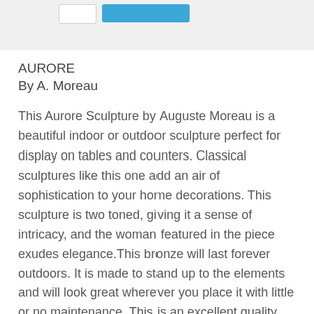[Figure (screenshot): Top panel with a white button and a blue button on a light gray background]
AURORE
By A. Moreau
This Aurore Sculpture by Auguste Moreau is a beautiful indoor or outdoor sculpture perfect for display on tables and counters. Classical sculptures like this one add an air of sophistication to your home decorations. This sculpture is two toned, giving it a sense of intricacy, and the woman featured in the piece exudes elegance.This bronze will last forever outdoors. It is made to stand up to the elements and will look great wherever you place it with little or no maintenance. This is an excellent quality bronze masterpiece for impressive display in home, office, outdoors or as gifts. Our quality bronze sculpture